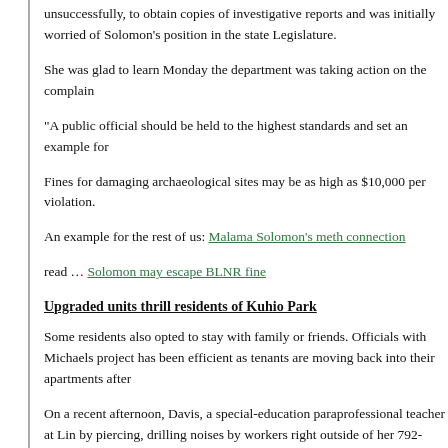unsuccessfully, to obtain copies of investigative reports and was initially worried of Solomon's position in the state Legislature.
She was glad to learn Monday the department was taking action on the complaint.
"A public official should be held to the highest standards and set an example for
Fines for damaging archaeological sites may be as high as $10,000 per violation.
An example for the rest of us: Malama Solomon's meth connection
read … Solomon may escape BLNR fine
Upgraded units thrill residents of Kuhio Park
Some residents also opted to stay with family or friends. Officials with Michaels project has been efficient as tenants are moving back into their apartments after
On a recent afternoon, Davis, a special-education paraprofessional teacher at Lin by piercing, drilling noises by workers right outside of her 792-square-foot apart kitchen, motioning toward her new full-size refrigerator and gas stove. Contracto cabinets that boxed in the kitchen, leaving little elbow room.
"Everything is a lot more open, more inviting, more welcoming," said Davis, who on the 14th floor.